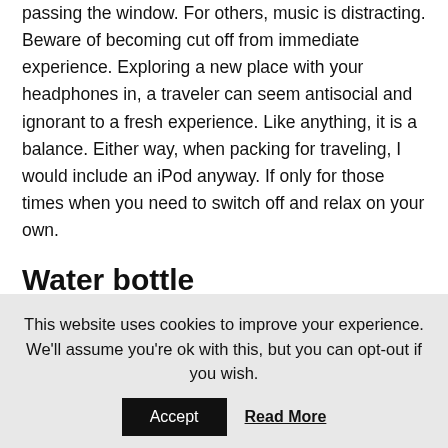passing the window. For others, music is distracting. Beware of becoming cut off from immediate experience. Exploring a new place with your headphones in, a traveler can seem antisocial and ignorant to a fresh experience. Like anything, it is a balance. Either way, when packing for traveling, I would include an iPod anyway. If only for those times when you need to switch off and relax on your own.
Water bottle
Save the world – buy a water bottle. Water is great to have around while traveling. In any situation, keeping hydrated is simply a good idea. Realize this before leaving and avoid buying countless plastic bottles along the way. If anything,
This website uses cookies to improve your experience. We'll assume you're ok with this, but you can opt-out if you wish.